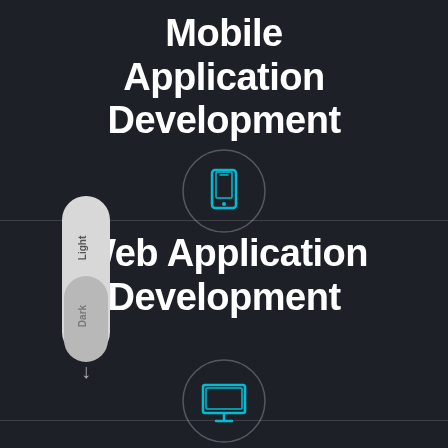Mobile Application Development
[Figure (illustration): Teal mobile phone icon inside a dark circle outline, representing mobile application development]
[Figure (illustration): Light/Dark mode toggle widget showing 'Light' label at top and 'Dark' label below with a downward arrow]
Web Application Development
[Figure (illustration): Teal desktop monitor icon inside a dark circle outline, representing web application development]